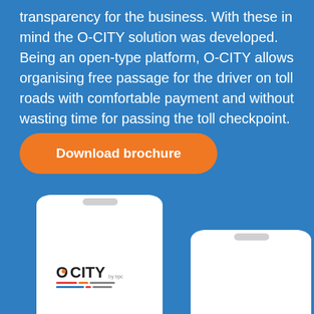transparency for the business. With these in mind the O-CITY solution was developed. Being an open-type platform, O-CITY allows organising free passage for the driver on toll roads with comfortable payment and without wasting time for passing the toll checkpoint.
Download brochure
[Figure (illustration): Two white smartphones shown on a blue background. The left phone (larger, more prominent) displays the O-CITY by bpc logo on its screen. The right phone (partially cut off at the bottom right) shows a blank white screen.]